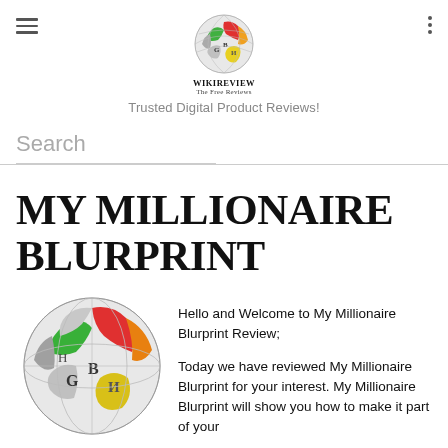WIKIREVIEW The Free Reviews — Trusted Digital Product Reviews!
Search
MY MILLIONAIRE BLURPRINT
[Figure (logo): Wikipedia-style colorful puzzle globe logo]
Hello and Welcome to My Millionaire Blurprint Review;

Today we have reviewed My Millionaire Blurprint for your interest. My Millionaire Blurprint will show you how to make it part of your...